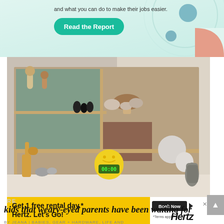[Figure (screenshot): Advertisement banner with teal/mint gradient background, 'Read the Report' teal button, decorative circles and arcs in teal/blue, and a salmon/orange quarter-circle shape on the right. Text reads 'and what you can do to make their jobs easier.']
[Figure (photo): Photo of a wooden shelving unit filled with toys and figurines (giraffe, penguins, mushroom figures, stones), with a yellow smiley-face alarm clock displaying 00:00 on a shelf, and decorative vases on the right side.]
[Figure (screenshot): Hertz advertisement banner with yellow background. Text: 'Get 1 free rental day.* Hertz. Let’s Go!' with a 'Book Now' button and '*Terms apply.' text, and Hertz logo in italic bold.]
RE
kids that weary-eyed parents have been waiting for
BY JEANA | BABIES, GEAR + HARDWARE, LIFE AND